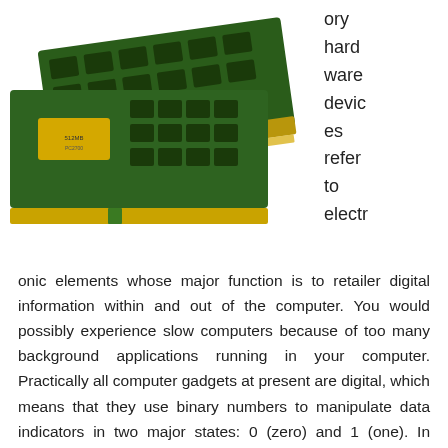[Figure (photo): Two green RAM memory modules (DIMM sticks) with yellow and gold connectors, one with a yellow label, photographed at an angle on a white background.]
ory hard ware devic es refer to electr onic elements whose major function is to retailer digital information within and out of the computer. You would possibly experience slow computers because of too many background applications running in your computer. Practically all computer gadgets at present are digital, which means that they use binary numbers to manipulate data indicators in two major states: 0 (zero) and 1 (one). In Nineteen Sixties, Gene Amdahl designed IBM system